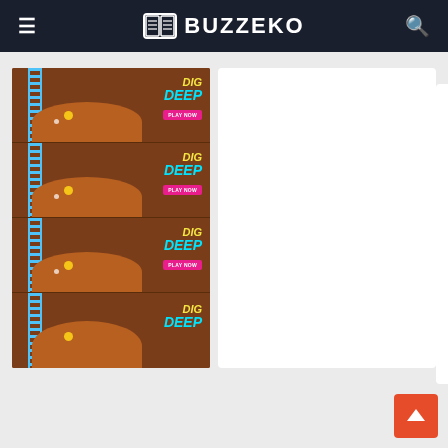BUZZEKO
[Figure (screenshot): Dig Deep mobile game advertisement showing repeated game screenshots with DIG DEEP logo and PLAY NOW button, brown excavation themed game]
[Figure (screenshot): Dig Deep app icon showing yellow character digging with purple balls, rounded square icon]
Dig Deep
5 free
[Figure (other): Green circular download button with downward arrow]